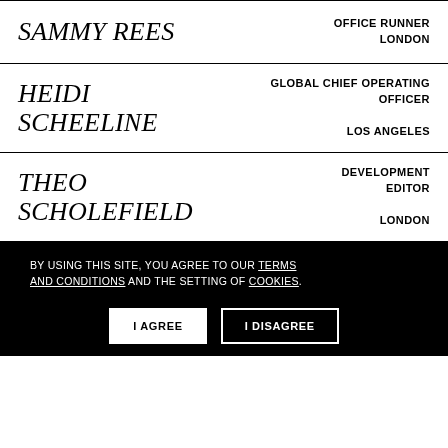SAMMY REES — OFFICE RUNNER, LONDON
HEIDI SCHEELINE — GLOBAL CHIEF OPERATING OFFICER, LOS ANGELES
THEO SCHOLEFIELD — DEVELOPMENT EDITOR, LONDON
BY USING THIS SITE, YOU AGREE TO OUR TERMS AND CONDITIONS AND THE SETTING OF COOKIES. I AGREE | I DISAGREE